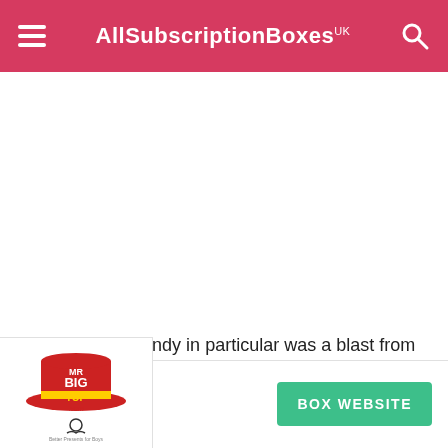AllSubscriptionBoxes UK
The popping candy in particular was a blast from the past and probably my favourite along with the Parma Violets.  I know how controversial Parma Violets can be, they are the Marmite of the candy world, you either love them or hate them, but I am firmly on the LOVE side of the fence.
[Figure (logo): Mr Big Top subscription box logo — red and yellow circus top hat with 'MR BIG TOP .com' text]
BOX WEBSITE